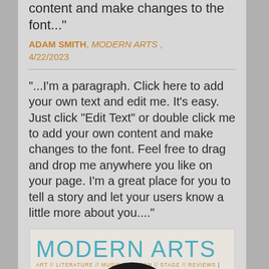double click me to add your own content and make changes to the font..."
ADAM SMITH, MODERN ARTS , 4/22/2023
"...I'm a paragraph. Click here to add your own text and edit me. It's easy. Just click “Edit Text” or double click me to add your own content and make changes to the font. Feel free to drag and drop me anywhere you like on your page. I’m a great place for you to tell a story and let your users know a little more about you...."
[Figure (other): Modern Arts magazine cover mockup with teal title text, orange subtitle, and dark rounded shape at bottom]